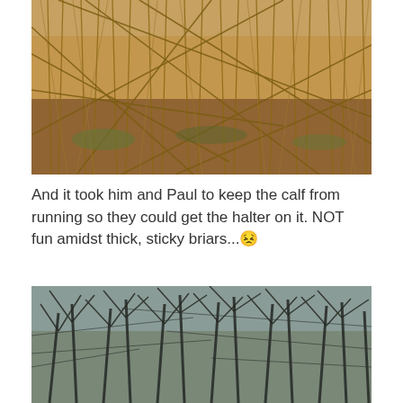[Figure (photo): Photograph of dense dry brown brambles and briars in a field, seen close up with tangled stems]
And it took him and Paul to keep the calf from running so they could get the halter on it. NOT fun amidst thick, sticky briars... 😣
[Figure (photo): Photograph of a dense winter woodland with bare dark tree branches against a grey sky]